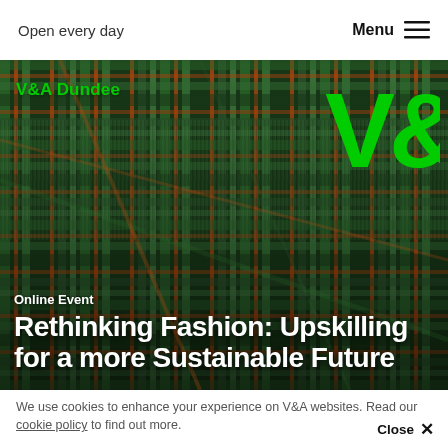Open every day | Menu
[Figure (photo): Close-up photograph of colorful woven tartan textile fabric with green, orange, red, and blue threads, showing fringe details. V&A logo in green top right, V&A Dundee text top left in green.]
Online Event
Rethinking Fashion: Upskilling for a more Sustainable Future
We use cookies to enhance your experience on V&A websites. Read our cookie policy to find out more.
Close ×